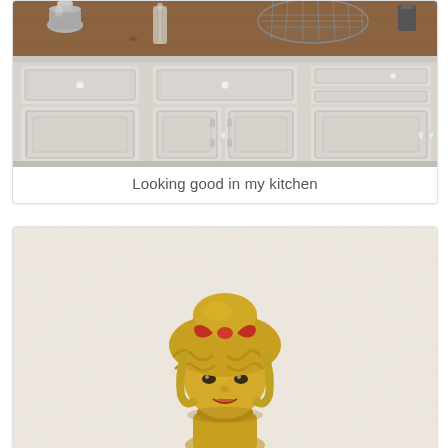[Figure (photo): Photo of a white distressed wood buffet/sideboard with a rustic wood top and decorative items (silver vase, glass bottle, wire basket) on top. The cabinet has multiple drawers and doors with white ceramic knobs and heart-shaped handles.]
Looking good in my kitchen
[Figure (photo): Photo of a vintage ceramic figurine of a girl with golden/blonde hair styled in a bun with a red bow, against a cream/beige textured wall background. The figurine has a retro style face.]